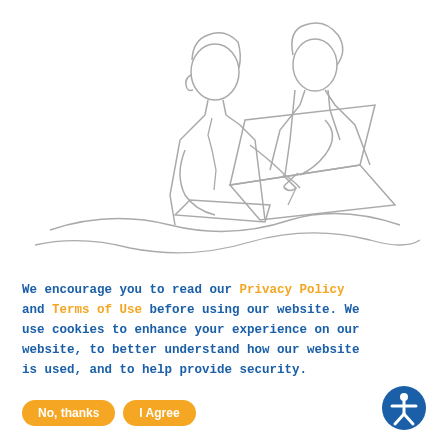[Figure (illustration): Line art illustration of two people (man and woman) sitting together looking at a laptop, drawn in a continuous single-line style with light gray strokes on white background.]
We encourage you to read our Privacy Policy and Terms of Use before using our website. We use cookies to enhance your experience on our website, to better understand how our website is used, and to help provide security.
No, thanks
I Agree
[Figure (logo): Accessibility icon: blue circle with white human figure with arms spread, indicating accessibility/universal design.]